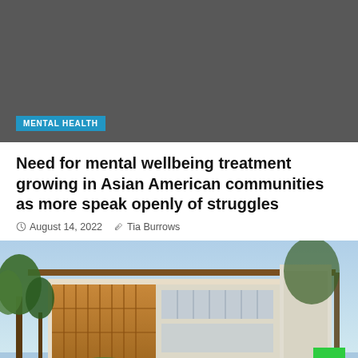[Figure (photo): Dark gray/charcoal rectangular placeholder image at top of page with a category badge overlay]
Need for mental wellbeing treatment growing in Asian American communities as more speak openly of struggles
August 14, 2022   Tia Burrows
[Figure (photo): Photograph of a modern multi-story building with wood cladding, large windows, a metal roof overhang, and trees in the foreground against a blue sky]